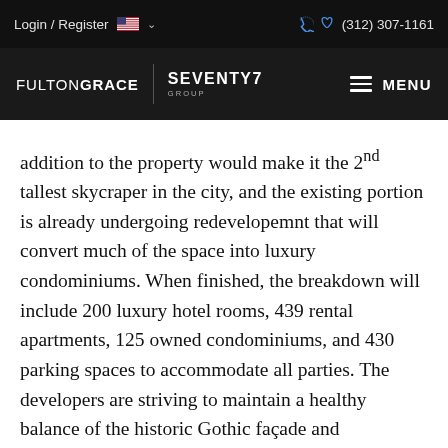Login / Register  (312) 307-1161
[Figure (logo): FultonGrace | Seventy7 Group logo with MENU hamburger icon on dark background]
addition to the property would make it the 2nd tallest skycraper in the city, and the existing portion is already undergoing redevelopemnt that will convert much of the space into luxury condominiums. When finished, the breakdown will include 200 luxury hotel rooms, 439 rental apartments, 125 owned condominiums, and 430 parking spaces to accommodate all parties. The developers are striving to maintain a healthy balance of the historic Gothic façade and seamlessly combing it with 21st century elements. Among the entirety of the proposed changes and addition, the most noticeable is the construction of a new four-story addition on top of